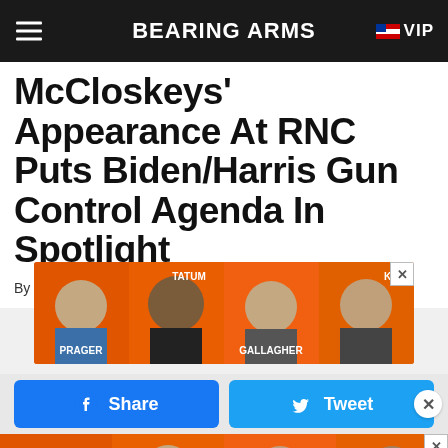BEARING ARMS | VIP
McCloskeys' Appearance At RNC Puts Biden/Harris Gun Control Agenda In Spotlight
By Cam Edwards | Aug 18, 2020 9:00 AM ET
[Figure (photo): Advertisement banner showing conservative commentators Prager, Tatum, Gallagher, and others on orange background]
[Figure (infographic): Social share buttons: Facebook Share and Twitter Tweet buttons]
[Figure (photo): Advertisement banner showing conservative commentators Wilkow, Metaxas, D'Souza, Gorka on orange background]
Mark and Patricia McCloskey, the St. Louis couple